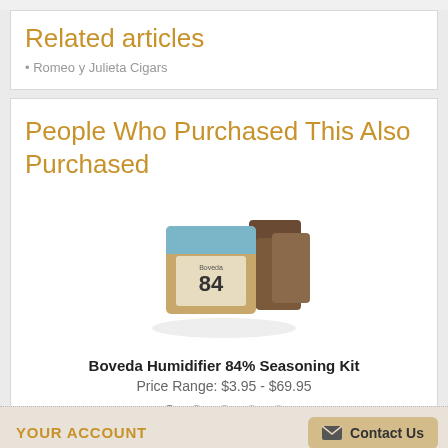Related articles
• Romeo y Julieta Cigars
People Who Purchased This Also Purchased
[Figure (photo): Product photo of Boveda Humidifier 84% Seasoning Kit — a beige cardboard packet with blue and dark label showing '84', bundled with other packets]
Boveda Humidifier 84% Seasoning Kit
Price Range: $3.95 - $69.95
YOUR ACCOUNT    Contact Us